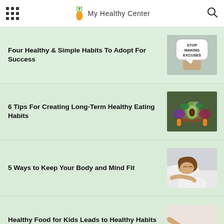My Healthy Center
Four Healthy & Simple Habits To Adopt For Success
[Figure (photo): Hand holding a speech bubble sign reading STOP MAKING EXCUSES]
6 Tips For Creating Long-Term Healthy Eating Habits
[Figure (photo): Overhead view of colorful healthy food bowls with avocado, carrots, and greens with a fork]
5 Ways to Keep Your Body and Mind Fit
[Figure (photo): Woman sleeping peacefully on white pillow and bedding]
Healthy Food for Kids Leads to Healthy Habits as an Adult
[Figure (photo): Child reaching for healthy food items including vegetables and nuts on a table]